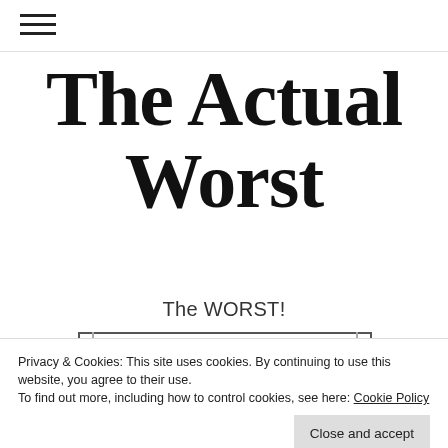☰ (hamburger menu icon)
The Actual Worst
The WORST!
Privacy & Cookies: This site uses cookies. By continuing to use this website, you agree to their use.
To find out more, including how to control cookies, see here: Cookie Policy
Close and accept
The Old Republic, Sims 4,